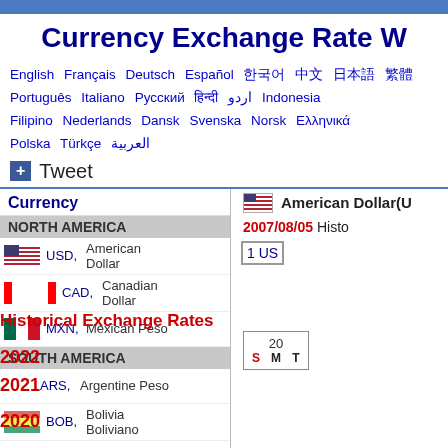Currency Exchange Rate W
English Français Deutsch Español 한국어 中文 日本語 繁體 Português Italiano Русский हिन्दी اردو Indonesia Filipino Nederlands Dansk Svenska Norsk Ελληνικά Polska Türkçe العربية
Tweet
| Currency |  |
| --- | --- |
| NORTH AMERICA | American Dollar(U... |
| USD, American Dollar | 2007/08/05 Histo... |
| CAD, Canadian Dollar | 1 US... |
| MXN, Mexican Peso |  |
| SOUTH AMERICA |  |
| ARS, Argentine Peso |  |
| BOB, Bolivia Boliviano |  |
| BRL, Brazilian Real |  |
| CLP, Chilean Peso |  |
Historical Exchange Rates
2022
2021
2020
2019
2018
2017